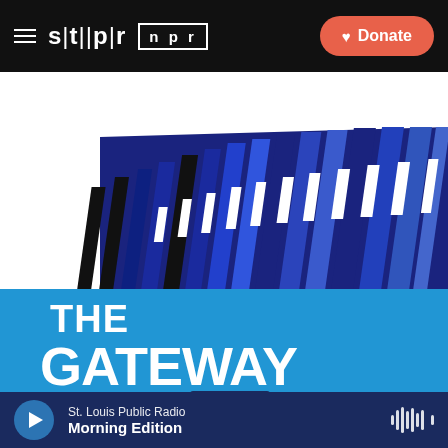stl|pr  npr  Donate
[Figure (illustration): Podcast cover art for 'The Gateway' on St. Louis Public Radio (STLPR). Upper portion shows a stylized architectural illustration of a building with vertical columns in dark blue, medium blue, and black tones with white rectangular windows. Lower portion has a bright blue background with large white text reading 'THE GATEWAY'.]
St. Louis Public Radio  Morning Edition